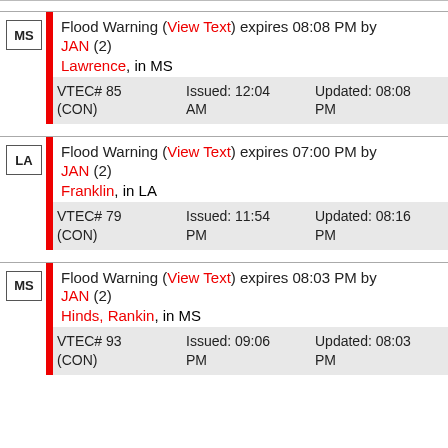MS Flood Warning (View Text) expires 08:08 PM by JAN (2) Lawrence, in MS VTEC# 85 (CON) Issued: 12:04 AM Updated: 08:08 PM
LA Flood Warning (View Text) expires 07:00 PM by JAN (2) Franklin, in LA VTEC# 79 (CON) Issued: 11:54 PM Updated: 08:16 PM
MS Flood Warning (View Text) expires 08:03 PM by JAN (2) Hinds, Rankin, in MS VTEC# 93 (CON) Issued: 09:06 PM Updated: 08:03 PM